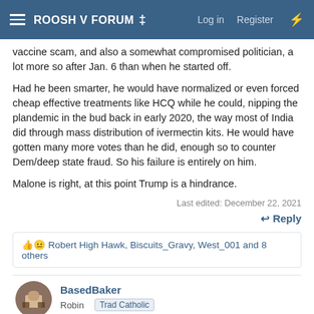ROOSH V FORUM ‡  Log in  Register
vaccine scam, and also a somewhat compromised politician, a lot more so after Jan. 6 than when he started off.
Had he been smarter, he would have normalized or even forced cheap effective treatments like HCQ while he could, nipping the plandemic in the bud back in early 2020, the way most of India did through mass distribution of ivermectin kits. He would have gotten many more votes than he did, enough so to counter Dem/deep state fraud. So his failure is entirely on him.
Malone is right, at this point Trump is a hindrance.
Last edited: December 22, 2021
↩ Reply
👍😐 Robert High Hawk, Biscuits_Gravy, West_001 and 8 others
BasedBaker
Robin  Trad Catholic